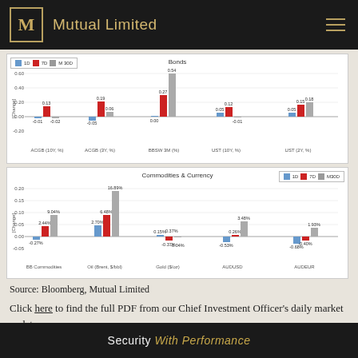Mutual Limited
[Figure (grouped-bar-chart): Bonds]
[Figure (grouped-bar-chart): Commodities & Currency]
Source: Bloomberg, Mutual Limited
Click here to find the full PDF from our Chief Investment Officer's daily market update.
Security With Performance